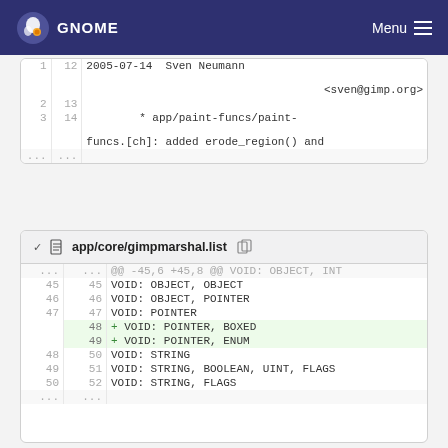GNOME   Menu
[Figure (screenshot): Partial diff block showing lines 1-3 (old) / 12-14 (new) with commit metadata: 2005-07-14 Sven Neumann <sven@gimp.org> and * app/paint-funcs/paint-funcs.[ch]: added erode_region() and ...]
app/core/gimpmarshal.list
| old | new | code |
| --- | --- | --- |
| ... | ... | @@ -45,6 +45,8 @@ VOID: OBJECT, INT |
| 45 | 45 | VOID: OBJECT, OBJECT |
| 46 | 46 | VOID: OBJECT, POINTER |
| 47 | 47 | VOID: POINTER |
|  | 48 | + VOID: POINTER, BOXED |
|  | 49 | + VOID: POINTER, ENUM |
| 48 | 50 | VOID: STRING |
| 49 | 51 | VOID: STRING, BOOLEAN, UINT, FLAGS |
| 50 | 52 | VOID: STRING, FLAGS |
| ... | ... |  |